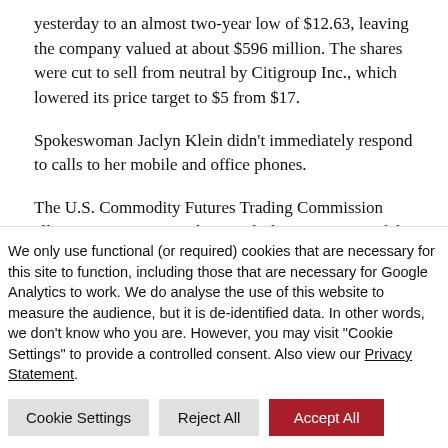yesterday to an almost two-year low of $12.63, leaving the company valued at about $596 million. The shares were cut to sell from neutral by Citigroup Inc., which lowered its price target to $5 from $17.
Spokeswoman Jaclyn Klein didn't immediately respond to calls to her mobile and office phones.
The U.S. Commodity Futures Trading Commission allows investors to put down as little as 2 percent of the value of their foreign-exchange bets. Brokers may get stuck with the balance
We only use functional (or required) cookies that are necessary for this site to function, including those that are necessary for Google Analytics to work. We do analyse the use of this website to measure the audience, but it is de-identified data. In other words, we don't know who you are. However, you may visit "Cookie Settings" to provide a controlled consent. Also view our Privacy Statement.